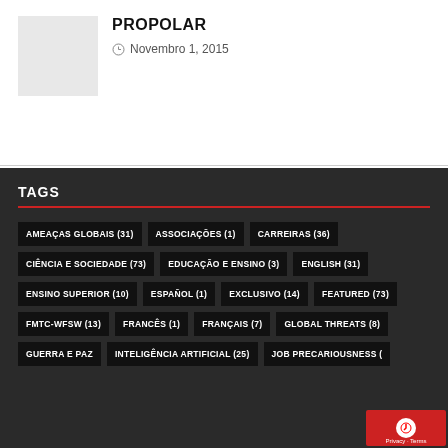[Figure (photo): Thumbnail placeholder image, light gray]
PROPOLAR
Novembro 1, 2015
TAGS
AMEAÇAS GLOBAIS (31)
ASSOCIAÇÕES (1)
CARREIRAS (36)
CIÊNCIA E SOCIEDADE (73)
EDUCAÇÃO E ENSINO (3)
ENGLISH (31)
ENSINO SUPERIOR (10)
ESPAÑOL (1)
EXCLUSIVO (14)
FEATURED (73)
FMTC-WFSW (13)
FRANCÊS (1)
FRANÇAIS (7)
GLOBAL THREATS (8)
GUERRA E PAZ
INTELIGÊNCIA ARTIFICIAL (25)
JOB PRECARIOUSNESS (